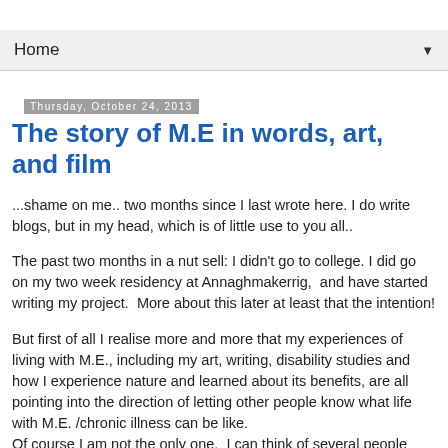Home
Thursday, October 24, 2013
The story of M.E in words, art, and film
...shame on me.. two months since I last wrote here. I do write blogs, but in my head, which is of little use to you all..
The past two months in a nut sell: I didn't go to college. I did go on my two week residency at Annaghmakerrig,  and have started writing my project.  More about this later at least that the intention!
But first of all I realise more and more that my experiences of living with M.E., including my art, writing, disability studies and how I experience nature and learned about its benefits, are all pointing into the direction of letting other people know what life with M.E. /chronic illness can be like.
Of course I am not the only one.  I can think of several people who are on this road.